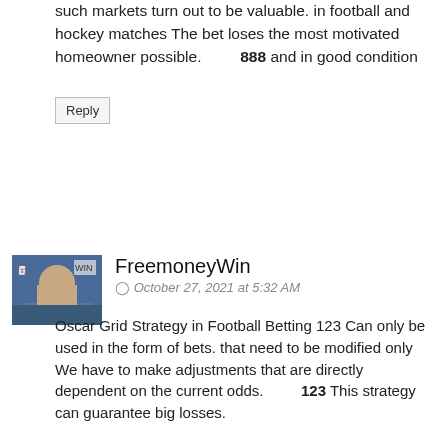such markets turn out to be valuable. in football and hockey matches The bet loses the most motivated homeowner possible. 888 and in good condition
Reply
FreemoneyWin
October 27, 2021 at 5:32 AM
Oscar Grid Strategy in Football Betting 123 Can only be used in the form of bets. that need to be modified only We have to make adjustments that are directly dependent on the current odds. 123 This strategy can guarantee big losses.
Reply
FreemoneyWin
October 27, 2021 at 5:40 AM
The average chosen by the experts is the space between the half The bettor has 15 minutes to analyze everything and make a decision. auto whether to bet on total 0.5, 1 or 1.5 2nd half live goals strategy